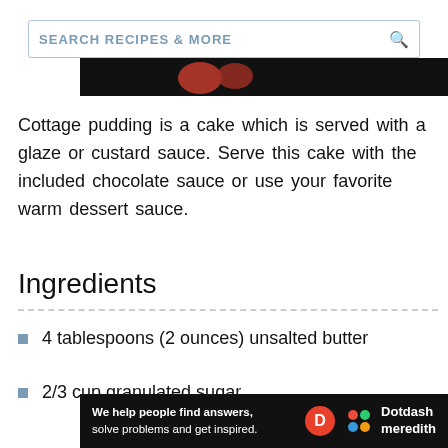SEARCH RECIPES & MORE
[Figure (photo): Partial food/recipe hero image, dark background]
Cottage pudding is a cake which is served with a glaze or custard sauce. Serve this cake with the included chocolate sauce or use your favorite warm dessert sauce.
Ingredients
4 tablespoons (2 ounces) unsalted butter
2/3 cup granulated sugar
[Figure (logo): Dotdash Meredith advertisement banner — 'We help people find answers, solve problems and get inspired.' with D logo and Dotdash meredith brand logo]